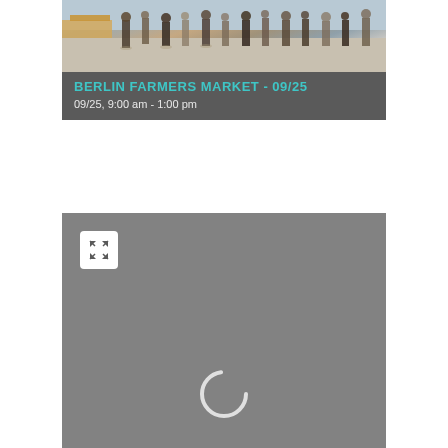[Figure (screenshot): Event card for Berlin Farmers Market showing a photo of people walking at an outdoor market, with a dark gray overlay banner showing the event title in teal text 'BERLIN FARMERS MARKET - 09/25' and date/time '09/25, 9:00 am - 1:00 pm' in white text below.]
[Figure (screenshot): A map placeholder panel showing a dark gray background with a white expand/fullscreen icon button in the top-left corner and a loading spinner (partial circle arc) centered at the bottom of the panel.]